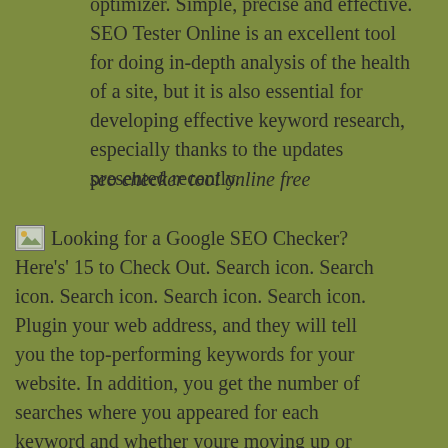optimizer. Simple, precise and effective. SEO Tester Online is an excellent tool for doing in-depth analysis of the health of a site, but it is also essential for developing effective keyword research, especially thanks to the updates presented recently.
seo checker tool online free
Looking for a Google SEO Checker? Here's' 15 to Check Out. Search icon. Search icon. Search icon. Search icon. Search icon. Plugin your web address, and they will tell you the top-performing keywords for your website. In addition, you get the number of searches where you appeared for each keyword and whether youre moving up or down in the rankings. The Hoths quick tool is a